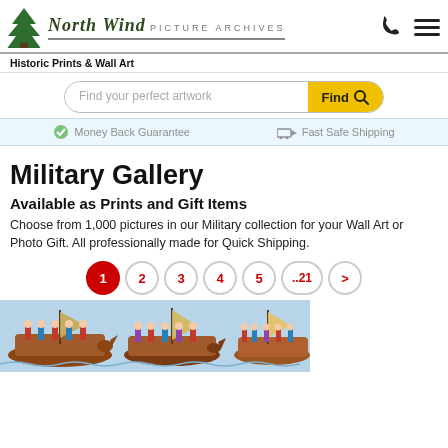[Figure (logo): North Wind Picture Archives logo with tree icon, logo name in serif font, and subtitle 'PICTURE ARCHIVES']
Historic Prints & Wall Art
Find your perfect artwork Find
Money Back Guarantee   Fast Safe Shipping
Military Gallery
Available as Prints and Gift Items
Choose from 1,000 pictures in our Military collection for your Wall Art or Photo Gift. All professionally made for Quick Shipping.
1 2 3 4 5 ..21 >
[Figure (illustration): Historic illustration of medieval ships with soldiers, colorful Bayeux Tapestry style]